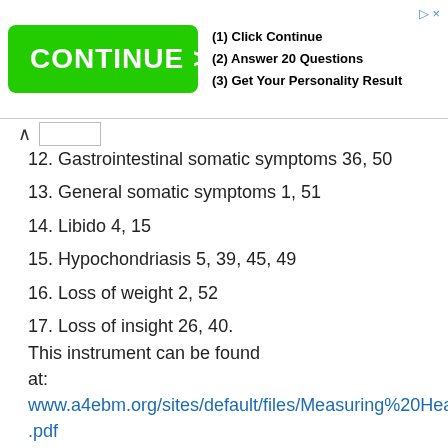[Figure (other): Advertisement banner with green CONTINUE > button and text: (1) Click Continue, (2) Answer 20 Questions, (3) Get Your Personality Result]
12. Gastrointestinal somatic symptoms 36, 50
13. General somatic symptoms 1, 51
14. Libido 4, 15
15. Hypochondriasis 5, 39, 45, 49
16. Loss of weight 2, 52
17. Loss of insight 26, 40.
This instrument can be found at: www.a4ebm.org/sites/default/files/Measuring%20Health.pdf